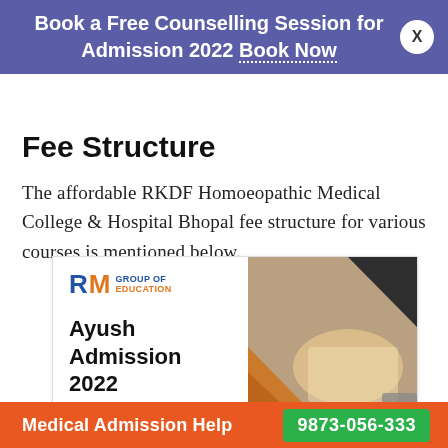Book a Free Counselling Session for Admission 2022 Book Now
Fee Structure
The affordable RKDF Homoeopathic Medical College & Hospital Bhopal fee structure for various courses is mentioned below.
[Figure (illustration): RM Group of Education advertisement banner showing Ayush Admission 2022 with logo and a photo of a person writing.]
Medical Admission Help  9873-056-333